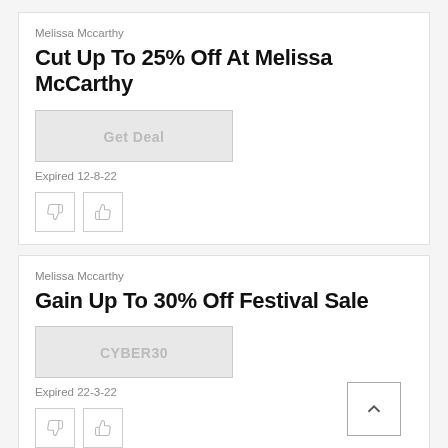Melissa Mccarthy
Cut Up To 25% Off At Melissa McCarthy
[Figure (other): Get Deal button (grey, expired)]
Expired 12-8-22
[Figure (other): Thumbs down and thumbs up vote buttons]
Melissa Mccarthy
Gain Up To 30% Off Festival Sale
[Figure (other): Coupon code button: CYBER30 (grey, expired)]
Expired 22-3-22
[Figure (other): Thumbs down and thumbs up vote buttons; scroll-to-top arrow button]
Melissa Mccarthy